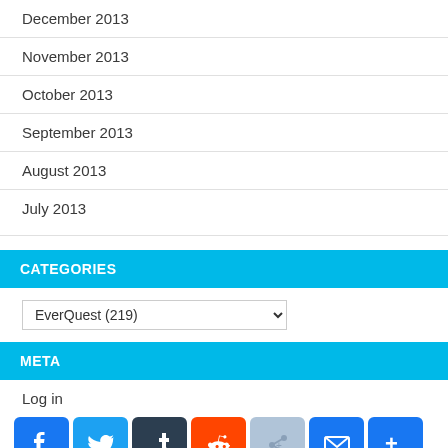December 2013
November 2013
October 2013
September 2013
August 2013
July 2013
CATEGORIES
EverQuest  (219)
META
Log in